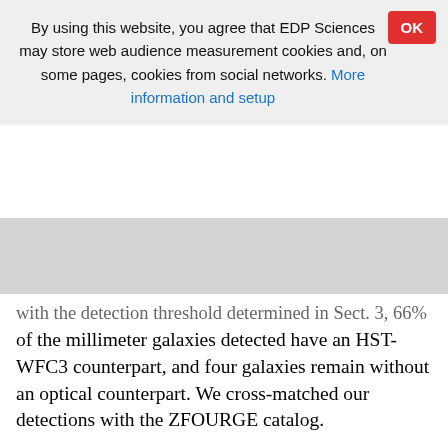By using this website, you agree that EDP Sciences may store web audience measurement cookies and, on some pages, cookies from social networks. More information and setup
with the detection threshold determined in Sect. 3, 66% of the millimeter galaxies detected have an HST-WFC3 counterpart, and four galaxies remain without an optical counterpart. We cross-matched our detections with the ZFOURGE catalog.